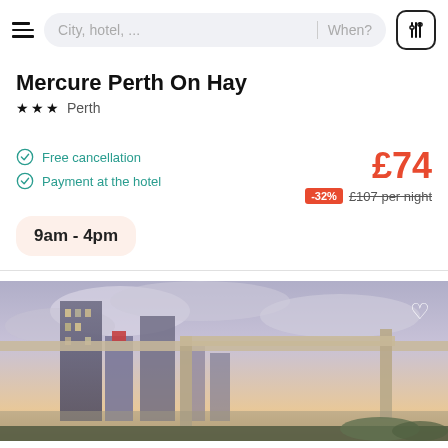City, hotel, .... | When?
Mercure Perth On Hay
★★★ Perth
Free cancellation
Payment at the hotel
£74
-32% £107 per night
9am - 4pm
[Figure (photo): View of Perth city skyline at dusk from a rooftop or balcony with glass railings, showing tall buildings under a cloudy sky]